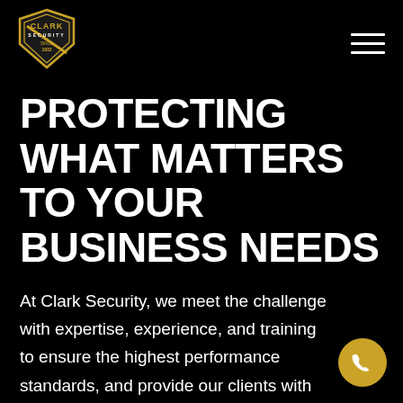[Figure (logo): Clark Security shield logo in gold and black with text CLARK SECURITY SINCE 1932]
PROTECTING WHAT MATTERS TO YOUR BUSINESS NEEDS
At Clark Security, we meet the challenge with expertise, experience, and training to ensure the highest performance standards, and provide our clients with the highest level of professional security service.